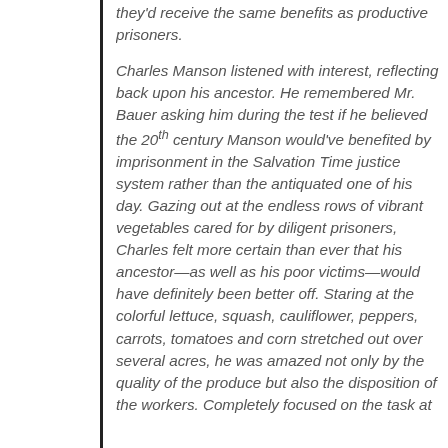they'd receive the same benefits as productive prisoners.
Charles Manson listened with interest, reflecting back upon his ancestor. He remembered Mr. Bauer asking him during the test if he believed the 20th century Manson would've benefited by imprisonment in the Salvation Time justice system rather than the antiquated one of his day. Gazing out at the endless rows of vibrant vegetables cared for by diligent prisoners, Charles felt more certain than ever that his ancestor—as well as his poor victims—would have definitely been better off. Staring at the colorful lettuce, squash, cauliflower, peppers, carrots, tomatoes and corn stretched out over several acres, he was amazed not only by the quality of the produce but also the disposition of the workers. Completely focused on the task at